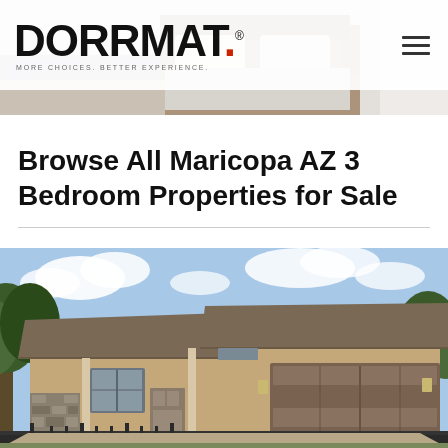[Figure (photo): Bedroom interior photo used as website header banner background]
DORRMAT. MORE CHOICES. BETTER EXPERIENCE.
Browse All Maricopa AZ 3 Bedroom Properties for Sale
[Figure (photo): Exterior photo of a single-story tan stucco house with brown garage door and decorative iron gate, Arizona home for sale]